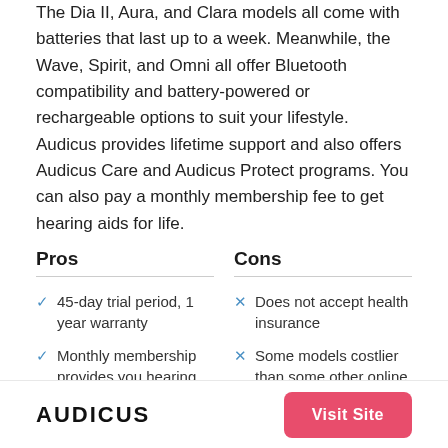The Dia II, Aura, and Clara models all come with batteries that last up to a week. Meanwhile, the Wave, Spirit, and Omni all offer Bluetooth compatibility and battery-powered or rechargeable options to suit your lifestyle. Audicus provides lifetime support and also offers Audicus Care and Audicus Protect programs. You can also pay a monthly membership fee to get hearing aids for life.
Pros
Cons
45-day trial period, 1 year warranty
Does not accept health insurance
Monthly membership provides you hearing
Some models costlier than some other online
AUDICUS  Visit Site